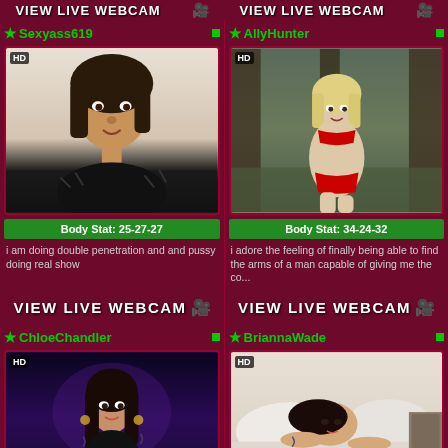VIEW LIVE WEBCAM
★Sexyass619
[Figure (photo): Portrait photo of a dark-haired woman in black fur clothing against white background, HD badge in corner]
Body Stat: 25-27-27
i am doing double penetration and and pussy doing real show
VIEW LIVE WEBCAM
★AllyHunter
[Figure (photo): Photo of a blonde woman in red bikini posing in forest/trees, HD badge in corner]
Body Stat: 34-24-32
i adore the feeling of finally being able to find the arms of a man capable of giving me the co...
VIEW LIVE WEBCAM
★ChloeChandler
[Figure (photo): Photo of a woman with long dark hair in dark purple/blue lighting, HD badge in corner]
★BriannaWade
[Figure (photo): Photo of a woman with tattoos lying on white bedding, HD badge in corner]